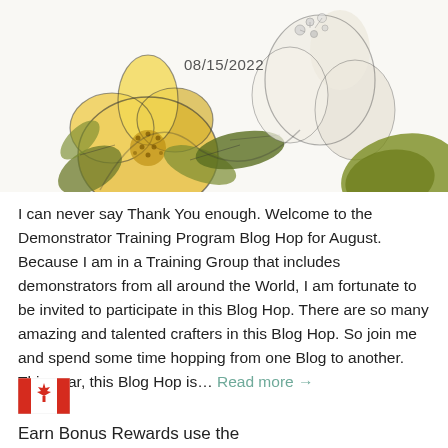[Figure (illustration): Floral watercolor illustration with yellow and white flowers, green leaves, on white background. Date '08/15/2022' overlaid in center.]
I can never say Thank You enough. Welcome to the Demonstrator Training Program Blog Hop for August. Because I am in a Training Group that includes demonstrators from all around the World, I am fortunate to be invited to participate in this Blog Hop. There are so many amazing and talented crafters in this Blog Hop. So join me and spend some time hopping from one Blog to another. This year, this Blog Hop is… Read more →
[Figure (illustration): Canadian flag emoji/icon]
Earn Bonus Rewards use the